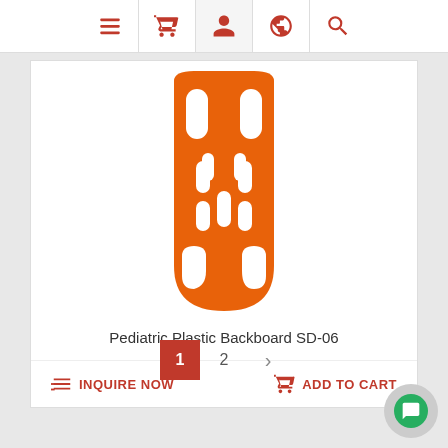[Figure (screenshot): Navigation bar with hamburger menu, shopping basket, user profile, globe, and search icons in red]
[Figure (photo): Orange pediatric plastic backboard SD-06 product image on white background]
Pediatric Plastic Backboard SD-06
INQUIRE NOW
ADD TO CART
1 2 >